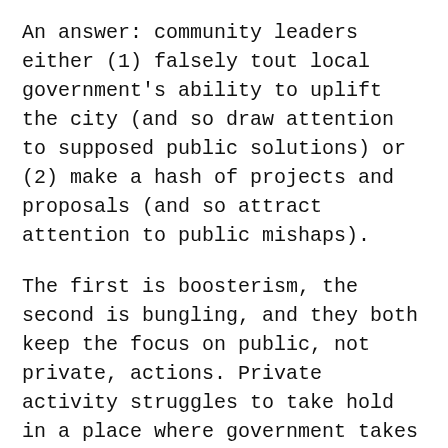An answer: community leaders either (1) falsely tout local government's ability to uplift the city (and so draw attention to supposed public solutions) or (2) make a hash of projects and proposals (and so attract attention to public mishaps).
The first is boosterism, the second is bungling, and they both keep the focus on public, not private, actions. Private activity struggles to take hold in a place where government takes up so much social space in a small town.
Appointed public officials who promise too much or deliver too little make themselves a burden on residents. Whitewater is a low-income community; many residents have enough to address without public officials'